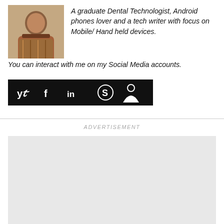[Figure (photo): Author profile photo showing a person in patterned clothing]
A graduate Dental Technologist, Android phones lover and a tech writer with focus on Mobile/ Hand held devices. You can interact with me on my Social Media accounts.
[Figure (illustration): Social media icon bar with Twitter, Facebook, LinkedIn, Skype, and person/profile icons on a black background]
ADVERTISEMENT
[Figure (other): Advertisement placeholder — light gray empty box]